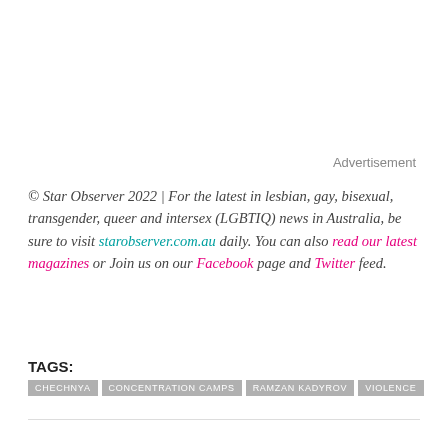Advertisement
© Star Observer 2022 | For the latest in lesbian, gay, bisexual, transgender, queer and intersex (LGBTIQ) news in Australia, be sure to visit starobserver.com.au daily. You can also read our latest magazines or Join us on our Facebook page and Twitter feed.
TAGS:
CHECHNYA
CONCENTRATION CAMPS
RAMZAN KADYROV
VIOLENCE